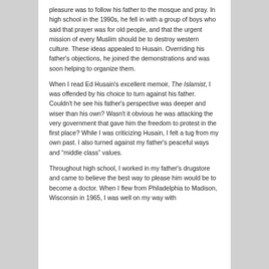pleasure was to follow his father to the mosque and pray. In high school in the 1990s, he fell in with a group of boys who said that prayer was for old people, and that the urgent mission of every Muslim should be to destroy western culture. These ideas appealed to Husain. Overriding his father's objections, he joined the demonstrations and was soon helping to organize them.
When I read Ed Husain's excellent memoir, The Islamist, I was offended by his choice to turn against his father. Couldn't he see his father's perspective was deeper and wiser than his own? Wasn't it obvious he was attacking the very government that gave him the freedom to protest in the first place? While I was criticizing Husain, I felt a tug from my own past. I also turned against my father's peaceful ways and "middle class" values.
Throughout high school, I worked in my father's drugstore and came to believe the best way to please him would be to become a doctor. When I flew from Philadelphia to Madison, Wisconsin in 1965, I was well on my way with